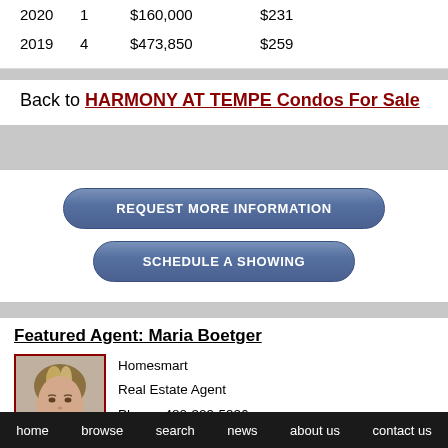| 2020 | 1 | $160,000 | $231 |
| 2019 | 4 | $473,850 | $259 |
Back to HARMONY AT TEMPE Condos For Sale
REQUEST MORE INFORMATION
SCHEDULE A SHOWING
Featured Agent: Maria Boetger
Homesmart
Real Estate Agent
Phone: 480-329-5926
[Figure (photo): Headshot photo of Maria Boetger, a woman with blonde highlights]
home   browse   search   news   about us   contact us